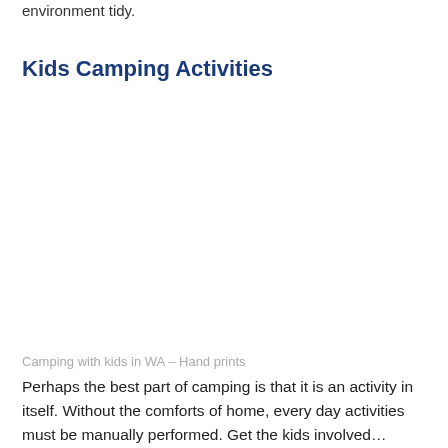environment tidy.
Kids Camping Activities
[Figure (photo): Camping with kids in WA – Hand prints (image area, blank/white in this view)]
Camping with kids in WA – Hand prints
Perhaps the best part of camping is that it is an activity in itself. Without the comforts of home, every day activities must be manually performed. Get the kids involved…